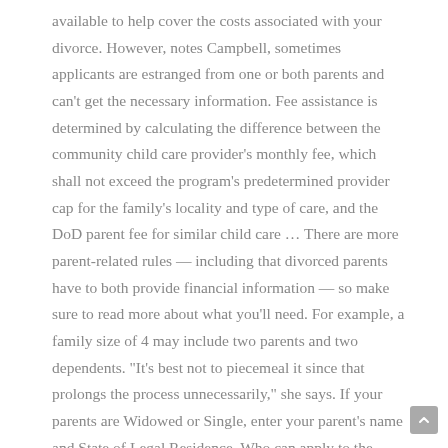available to help cover the costs associated with your divorce. However, notes Campbell, sometimes applicants are estranged from one or both parents and can't get the necessary information. Fee assistance is determined by calculating the difference between the community child care provider's monthly fee, which shall not exceed the program's predetermined provider cap for the family's locality and type of care, and the DoD parent fee for similar child care … There are more parent-related rules — including that divorced parents have to both provide financial information — so make sure to read more about what you'll need. For example, a family size of 4 may include two parents and two dependents. "It's best not to piecemeal it since that prolongs the process unnecessarily," she says. If your parents are Widowed or Single, enter your parent's name and State of Legal Residence. Who can apply to the AAMC Fee Assistance Program? 7. Association of Faculties of Medicine in Canada, AAMC Supports Rule Allowing VA Health Providers to Practice Across State Lines, CMS Withdraws Medicaid Fiscal Accountability Regulation,